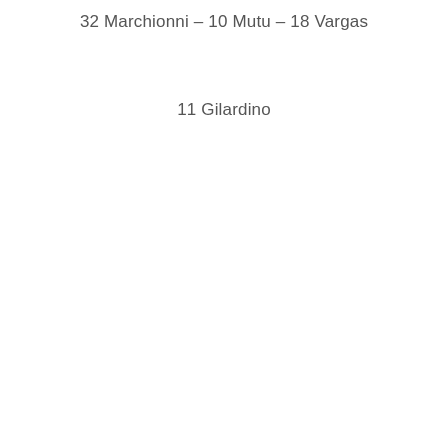32 Marchionni – 10 Mutu – 18 Vargas
11 Gilardino